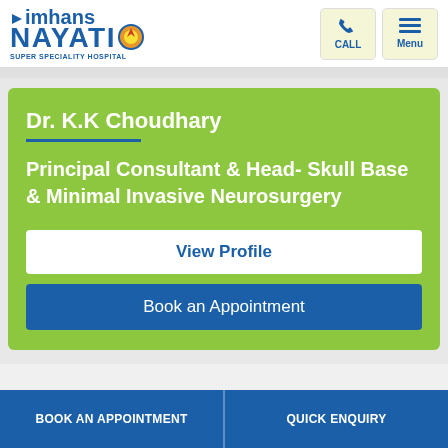[Figure (logo): Vimhans Nayati Super Speciality Hospital logo with circular emblem]
[Figure (infographic): Call and Menu navigation buttons in beige boxes]
Dr. K.K Choudhary
Principal Consultant & Head- Skull Base & Minimal Invasive Neurosurgery
View Profile
Book an Appointment
BOOK AN APPOINTMENT   QUICK ENQUIRY